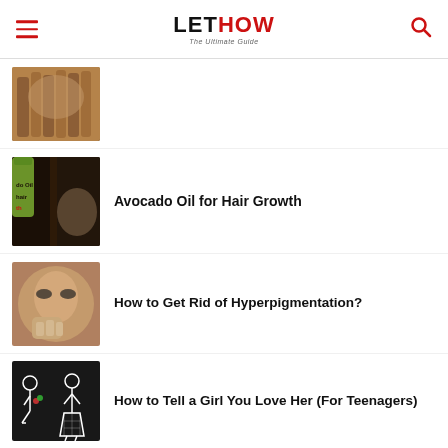LETHOW - The Ultimate Guide
[Figure (photo): Woman with braided/dreadlocked hair]
[Figure (photo): Avocado oil being poured next to woman with long dark hair]
Avocado Oil for Hair Growth
[Figure (photo): Woman with hyperpigmentation applying cream to face]
How to Get Rid of Hyperpigmentation?
[Figure (illustration): Cartoon stick figure boy holding flowers for girl]
How to Tell a Girl You Love Her (For Teenagers)